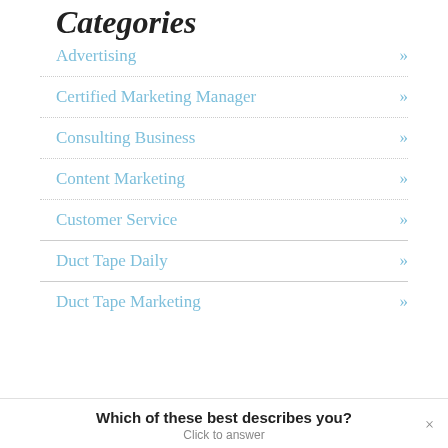Categories
Advertising »
Certified Marketing Manager »
Consulting Business »
Content Marketing »
Customer Service »
Duct Tape Daily »
Duct Tape Marketing »
Which of these best describes you? Click to answer